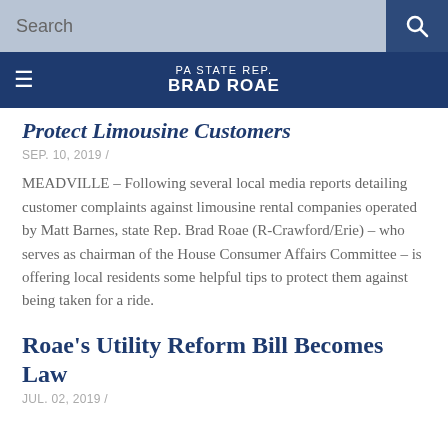Search
PA STATE REP. BRAD ROAE
Protect Limousine Customers
SEP. 10, 2019 /
MEADVILLE – Following several local media reports detailing customer complaints against limousine rental companies operated by Matt Barnes, state Rep. Brad Roae (R-Crawford/Erie) – who serves as chairman of the House Consumer Affairs Committee – is offering local residents some helpful tips to protect them against being taken for a ride.
Roae's Utility Reform Bill Becomes Law
JUL. 02, 2019 /